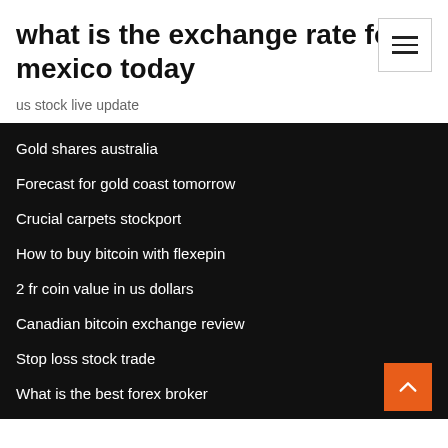what is the exchange rate for mexico today
us stock live update
Gold shares australia
Forecast for gold coast tomorrow
Crucial carpets stockport
How to buy bitcoin with flexepin
2 fr coin value in us dollars
Canadian bitcoin exchange review
Stop loss stock trade
What is the best forex broker